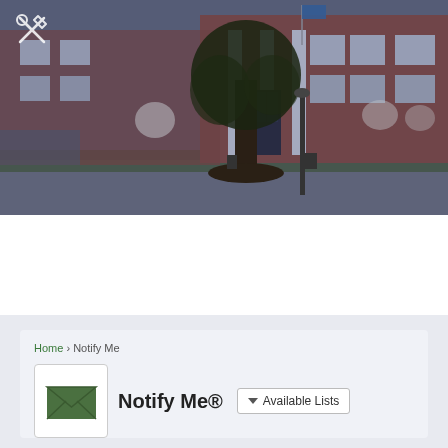[Figure (photo): Government building (brick colonial-style with white columns and flags) with a large tree in the foreground, green lawn, and a parking area. Daytime/overcast light. Small wrench-and-screwdriver icon overlay at top-left.]
Home › Notify Me
Notify Me®
▼ Available Lists